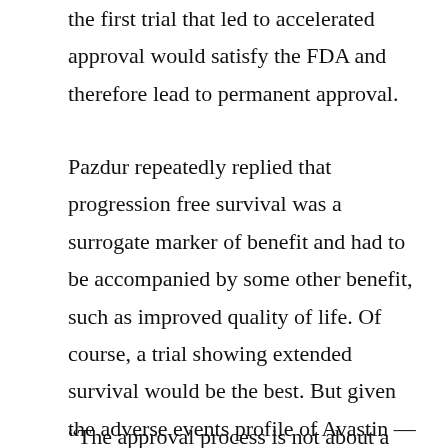the first trial that led to accelerated approval would satisfy the FDA and therefore lead to permanent approval.
Pazdur repeatedly replied that progression free survival was a surrogate marker of benefit and had to be accompanied by some other benefit, such as improved quality of life. Of course, a trial showing extended survival would be the best. But given the adverse events profile of Avastin — increased cardiovascular deaths; GI perforations; an increase in hypertension in a quarter of patients — any increase in time before a tumor began progressing as the sole benefit would have to be substantial before a drug would be approved based on that surrogate marker alone.
“The approval process is not about a median…